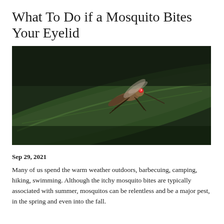What To Do if a Mosquito Bites Your Eyelid
[Figure (photo): Close-up macro photograph of a mosquito resting on a green leaf edge, dark background]
Sep 29, 2021
Many of us spend the warm weather outdoors, barbecuing, camping, hiking, swimming. Although the itchy mosquito bites are typically associated with summer, mosquitos can be relentless and be a major pest, in the spring and even into the fall.